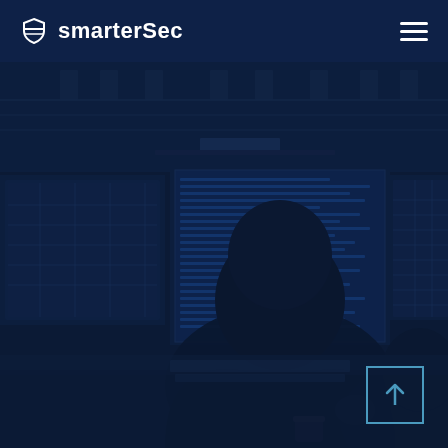[Figure (photo): Background photo of security/control room operators sitting in front of multiple monitors displaying dashboards and data screens, tinted with deep navy blue overlay]
smarterSec
[Figure (other): Scroll-to-top button: square outline with upward arrow icon, positioned bottom-right corner]